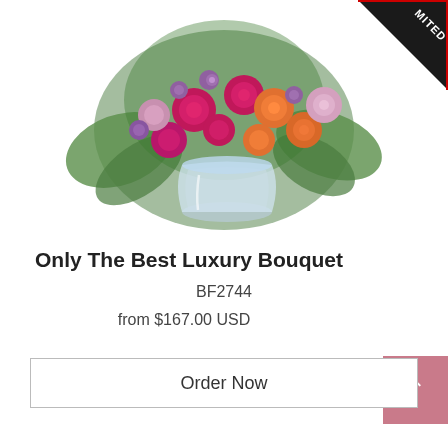[Figure (photo): A luxurious floral bouquet with pink, orange, and magenta roses, purple wildflowers, and lush greenery arranged in a clear glass vase on a white background. A 'Limited' ribbon badge appears in the top-right corner.]
Only The Best Luxury Bouquet
BF2744
from $167.00 USD
Order Now